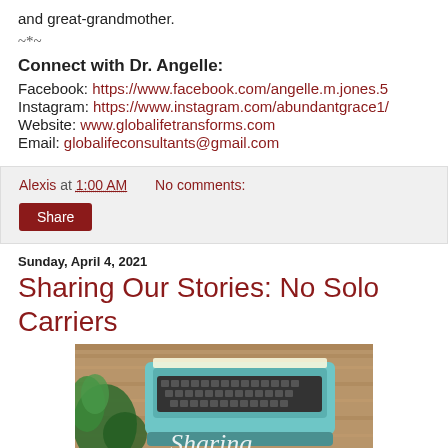and great-grandmother.
~*~
Connect with Dr. Angelle:
Facebook: https://www.facebook.com/angelle.m.jones.5
Instagram: https://www.instagram.com/abundantgrace1/
Website: www.globalifetransforms.com
Email: globalifeconsultants@gmail.com
Alexis at 1:00 AM    No comments:
Share
Sunday, April 4, 2021
Sharing Our Stories: No Solo Carriers
[Figure (photo): A vintage typewriter on a wooden surface with green plants, with the word 'Sharing' in script overlay]